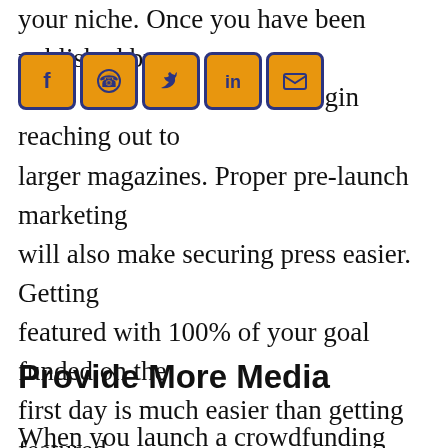your niche. Once you have been published by several blogs, you can begin reaching out to larger magazines. Proper pre-launch marketing will also make securing press easier. Getting featured with 100% of your goal funded on the first day is much easier than getting featured with no pledges. The more successful your campaign is, the more editors will assume their audience will have interest in your crowdfunding campaign.
[Figure (infographic): Row of five social media sharing icons: Facebook (f), WhatsApp, Twitter (bird), LinkedIn (in), Email (envelope) — each in orange with dark navy border]
Provide More Media
When you launch a crowdfunding campaign,